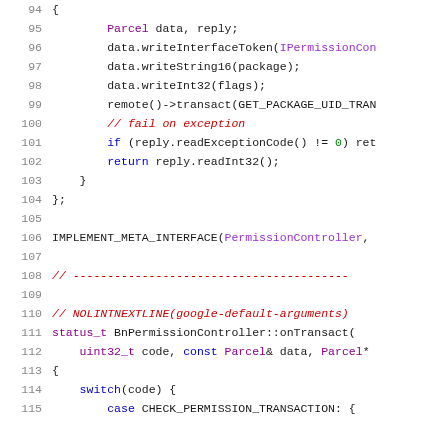[Figure (screenshot): Source code listing showing C++ code for BnPermissionController onTransact function, lines 94-115, with syntax highlighting. Dark text on white background with line numbers in gray on the left.]